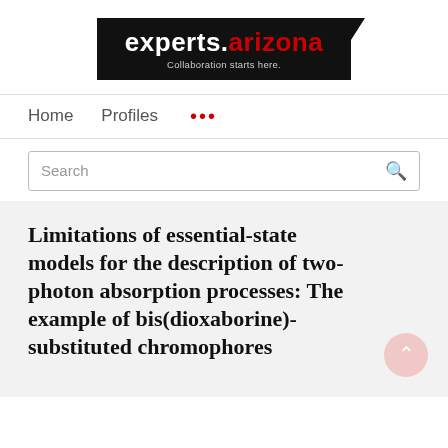[Figure (logo): experts.arizona logo with tagline 'Collaboration starts here.' on black background]
Home   Profiles   ...
Search
Limitations of essential-state models for the description of two-photon absorption processes: The example of bis(dioxaborine)-substituted chromophores